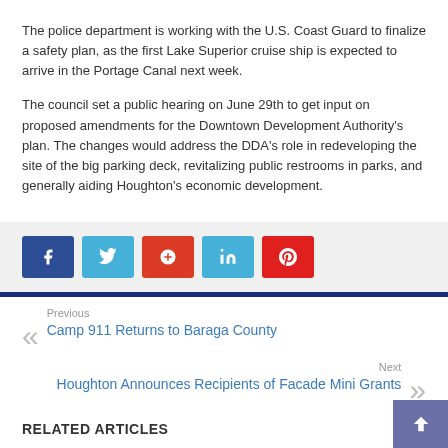The police department is working with the U.S. Coast Guard to finalize a safety plan, as the first Lake Superior cruise ship is expected to arrive in the Portage Canal next week.
The council set a public hearing on June 29th to get input on proposed amendments for the Downtown Development Authority's plan. The changes would address the DDA's role in redeveloping the site of the big parking deck, revitalizing public restrooms in parks, and generally aiding Houghton's economic development.
[Figure (other): Social media sharing buttons: Facebook, Twitter, Google+, LinkedIn, Pinterest]
Previous
Camp 911 Returns to Baraga County
Next
Houghton Announces Recipients of Facade Mini Grants
RELATED ARTICLES